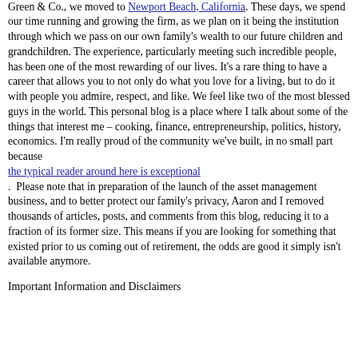institutions invest their capital around the world. In 2018, as part of our journey to have kids through gestational surrogacy, and the spin-up of Kennon-Green & Co., we moved to Newport Beach, California. These days, we spend our time running and growing the firm, as we plan on it being the institution through which we pass on our own family's wealth to our future children and grandchildren. The experience, particularly meeting such incredible people, has been one of the most rewarding of our lives. It's a rare thing to have a career that allows you to not only do what you love for a living, but to do it with people you admire, respect, and like. We feel like two of the most blessed guys in the world. This personal blog is a place where I talk about some of the things that interest me – cooking, finance, entrepreneurship, politics, history, economics. I'm really proud of the community we've built, in no small part because the typical reader around here is exceptional. Please note that in preparation of the launch of the asset management business, and to better protect our family's privacy, Aaron and I removed thousands of articles, posts, and comments from this blog, reducing it to a fraction of its former size. This means if you are looking for something that existed prior to us coming out of retirement, the odds are good it simply isn't available anymore.
Important Information and Disclaimers